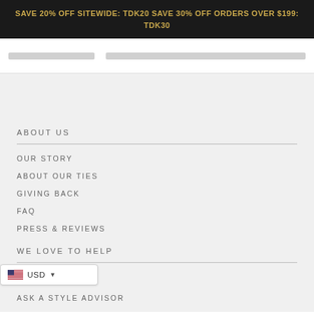SAVE 20% OFF SITEWIDE: TDK20 SAVE 30% OFF ORDERS OVER $199: TDK30
ABOUT US
OUR STORY
ABOUT OUR TIES
GIVING BACK
FAQ
PRESS & REVIEWS
WE LOVE TO HELP
USD
ASK A STYLE ADVISOR